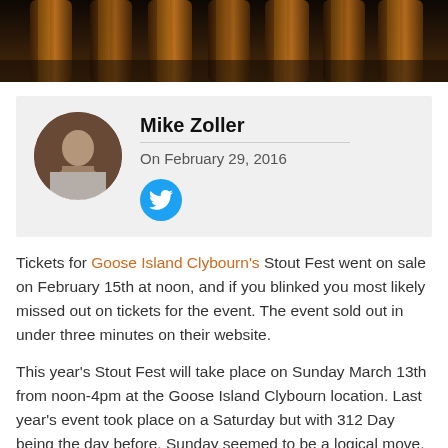[Figure (photo): Top portion of a photo showing amber/brown glass bottles, dark background]
Mike Zoller
On February 29, 2016
Tickets for Goose Island Clybourn's Stout Fest went on sale on February 15th at noon, and if you blinked you most likely missed out on tickets for the event. The event sold out in under three minutes on their website.
This year's Stout Fest will take place on Sunday March 13th from noon-4pm at the Goose Island Clybourn location. Last year's event took place on a Saturday but with 312 Day being the day before, Sunday seemed to be a logical move.